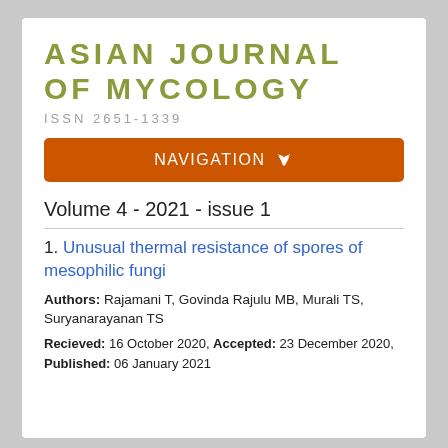ASIAN JOURNAL OF MYCOLOGY
ISSN 2651-1339
NAVIGATION
Volume 4 - 2021 - issue 1
1. Unusual thermal resistance of spores of mesophilic fungi
Authors: Rajamani T, Govinda Rajulu MB, Murali TS, Suryanarayanan TS
Recieved: 16 October 2020, Accepted: 23 December 2020, Published: 06 January 2021